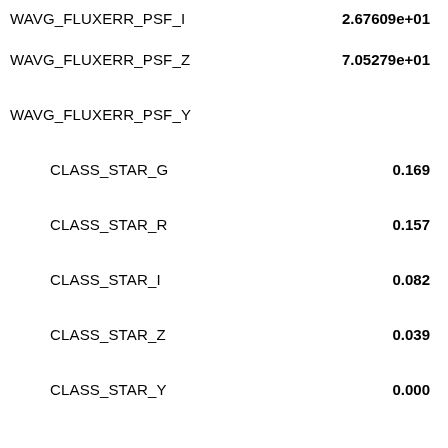WAVG_FLUXERR_PSF_I   2.67609e+01
WAVG_FLUXERR_PSF_Z   7.05279e+01
WAVG_FLUXERR_PSF_Y
CLASS_STAR_G   0.169
CLASS_STAR_R   0.157
CLASS_STAR_I   0.082
CLASS_STAR_Z   0.039
CLASS_STAR_Y   0.000